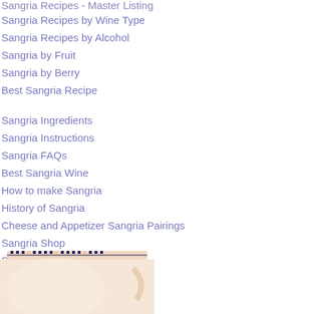Sangria Recipes - Master Listing
Sangria Recipes by Wine Type
Sangria Recipes by Alcohol
Sangria by Fruit
Sangria by Berry
Best Sangria Recipe
Sangria Ingredients
Sangria Instructions
Sangria FAQs
Best Sangria Wine
How to make Sangria
History of Sangria
Cheese and Appetizer Sangria Pairings
Sangria Shop
Sangria Central
[Figure (photo): Partial view of a decorative pitcher or vessel with embroidered/stitched pattern along the rim, light pink/cream colored]